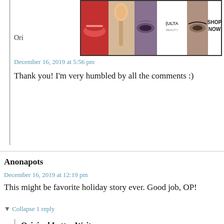[Figure (screenshot): ULTA beauty advertisement banner with makeup images and SHOP NOW text]
Ori
December 16, 2019 at 5:56 pm
Thank you! I'm very humbled by all the comments :)
Anonapots
December 16, 2019 at 12:19 pm
This might be favorite holiday story ever. Good job, OP!
▼ Collapse 1 reply
Original Letter Writer
December 16, 2019 at 5:57 pm
Thank you! And what high praise!
CLOSE
[Figure (screenshot): Macy's KISS BORING LIPS GOODBYE advertisement with SHOP NOW button]
Ann O